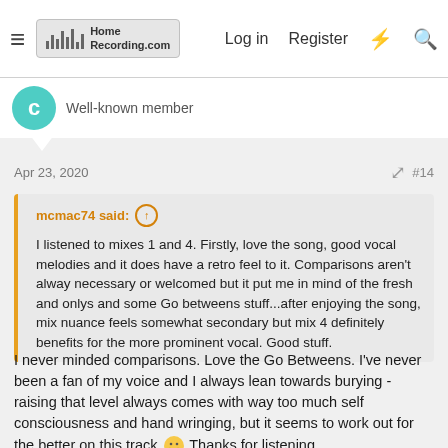HomeRecording.com | Log in | Register
Well-known member
Apr 23, 2020  #14
mcmac74 said: ↑  I listened to mixes 1 and 4. Firstly, love the song, good vocal melodies and it does have a retro feel to it. Comparisons aren't alway necessary or welcomed but it put me in mind of the fresh and onlys and some Go betweens stuff...after enjoying the song, mix nuance feels somewhat secondary but mix 4 definitely benefits for the more prominent vocal. Good stuff.
I never minded comparisons. Love the Go Betweens. I've never been a fan of my voice and I always lean towards burying - raising that level always comes with way too much self consciousness and hand wringing, but it seems to work out for the better on this track 🙂 Thanks for listening.